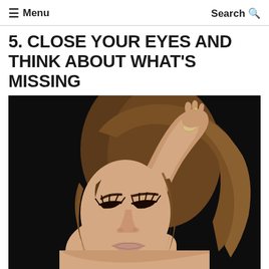≡ Menu   Search
5. CLOSE YOUR EYES AND THINK ABOUT WHAT'S MISSING
[Figure (photo): A young woman with long brown hair, eyes closed, one arm raised with hand behind her head, wearing bracelets and a ring, against a black background, appearing relaxed or contemplative.]